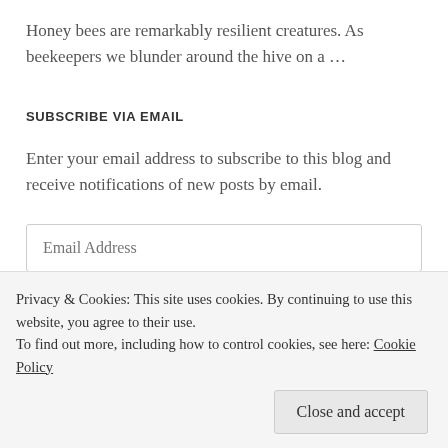Honey bees are remarkably resilient creatures. As beekeepers we blunder around the hive on a …
SUBSCRIBE VIA EMAIL
Enter your email address to subscribe to this blog and receive notifications of new posts by email.
Email Address
Subscribe
Privacy & Cookies: This site uses cookies. By continuing to use this website, you agree to their use.
To find out more, including how to control cookies, see here: Cookie Policy
Close and accept